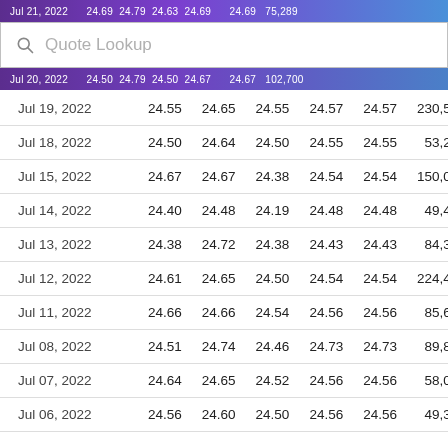Jul 21, 2022  24.69  24.79  24.63  24.69  24.69  75,289
Quote Lookup
Jul 20, 2022  24.50  24.79  24.50  24.67  24.67  102,700
| Date | Open | High | Low | Close* | Adj Close** | Volume |
| --- | --- | --- | --- | --- | --- | --- |
| Jul 19, 2022 | 24.55 | 24.65 | 24.55 | 24.57 | 24.57 | 230,541 |
| Jul 18, 2022 | 24.50 | 24.64 | 24.50 | 24.55 | 24.55 | 53,290 |
| Jul 15, 2022 | 24.67 | 24.67 | 24.38 | 24.54 | 24.54 | 150,091 |
| Jul 14, 2022 | 24.40 | 24.48 | 24.19 | 24.48 | 24.48 | 49,460 |
| Jul 13, 2022 | 24.38 | 24.72 | 24.38 | 24.43 | 24.43 | 84,326 |
| Jul 12, 2022 | 24.61 | 24.65 | 24.50 | 24.54 | 24.54 | 224,424 |
| Jul 11, 2022 | 24.66 | 24.66 | 24.54 | 24.56 | 24.56 | 85,613 |
| Jul 08, 2022 | 24.51 | 24.74 | 24.46 | 24.73 | 24.73 | 89,897 |
| Jul 07, 2022 | 24.64 | 24.65 | 24.52 | 24.56 | 24.56 | 58,046 |
| Jul 06, 2022 | 24.56 | 24.60 | 24.50 | 24.56 | 24.56 | 49,301 |